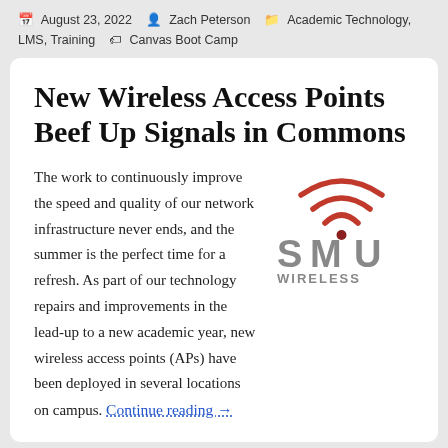August 23, 2022  Zach Peterson  Academic Technology, LMS, Training  Canvas Boot Camp
New Wireless Access Points Beef Up Signals in Commons
[Figure (logo): SMU Wireless logo — red wifi arc signals above the letters SMU in grey, with WIRELESS written below in grey capitals]
The work to continuously improve the speed and quality of our network infrastructure never ends, and the summer is the perfect time for a refresh. As part of our technology repairs and improvements in the lead-up to a new academic year, new wireless access points (APs) have been deployed in several locations on campus. Continue reading →